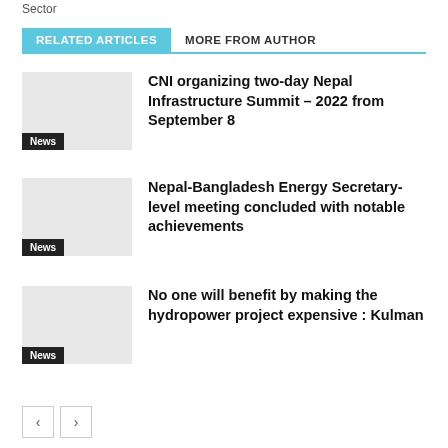Sector
RELATED ARTICLES   MORE FROM AUTHOR
CNI organizing two-day Nepal Infrastructure Summit – 2022 from September 8
Nepal-Bangladesh Energy Secretary-level meeting concluded with notable achievements
No one will benefit by making the hydropower project expensive : Kulman